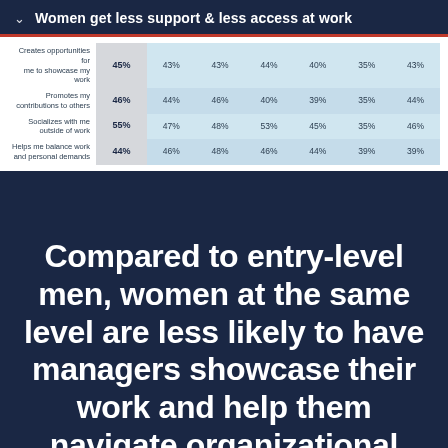Women get less support & less access at work
|  | Col1 | Col2 | Col3 | Col4 | Col5 | Col6 | Col7 |
| --- | --- | --- | --- | --- | --- | --- | --- |
| Creates opportunities for me to showcase my work | 45% | 43% | 43% | 44% | 40% | 35% | 43% |
| Promotes my contributions to others | 46% | 44% | 46% | 40% | 39% | 35% | 44% |
| Socializes with me outside of work | 55% | 47% | 48% | 53% | 45% | 35% | 46% |
| Helps me balance work and personal demands | 44% | 46% | 48% | 46% | 44% | 39% | 39% |
Compared to entry-level men, women at the same level are less likely to have managers showcase their work and help them navigate organizational politics